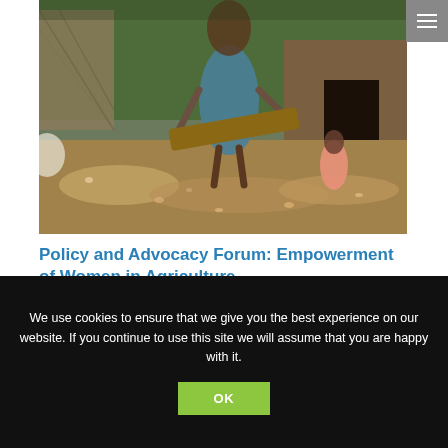[Figure (photo): A woman in a blue dress using a wooden tray/sieve, with a child in a pink dress visible in the background near a mud building. Grain or nuts are spread on the ground in the foreground.]
Policy and Advocacy Forum: Empowerment of Women in Agriculture
OCTOBER 30, 2018 / NEWS
We use cookies to ensure that we give you the best experience on our website. If you continue to use this site we will assume that you are happy with it.